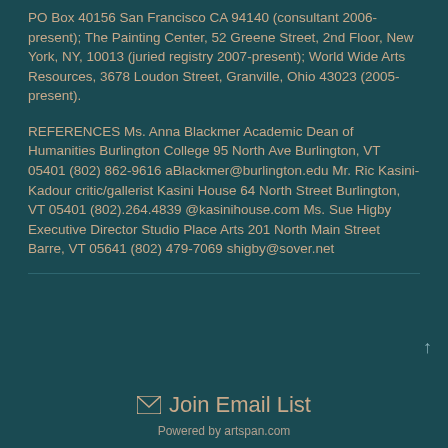PO Box 40156 San Francisco CA 94140 (consultant 2006-present); The Painting Center, 52 Greene Street, 2nd Floor, New York, NY, 10013 (juried registry 2007-present); World Wide Arts Resources, 3678 Loudon Street, Granville, Ohio 43023 (2005-present).
REFERENCES Ms. Anna Blackmer Academic Dean of Humanities Burlington College 95 North Ave Burlington, VT 05401 (802) 862-9616 aBlackmer@burlington.edu Mr. Ric Kasini-Kadour critic/gallerist Kasini House 64 North Street Burlington, VT 05401 (802).264.4839 @kasinihouse.com Ms. Sue Higby Executive Director Studio Place Arts 201 North Main Street Barre, VT 05641 (802) 479-7069 shigby@sover.net
✉ Join Email List
Powered by artspan.com